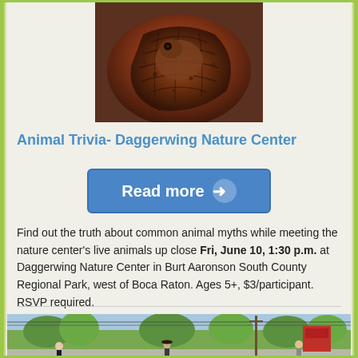[Figure (photo): Close-up photo of a turtle or reptile with textured shell and skin, brown and reddish tones]
Animal Trivia- Daggerwing Nature Center
[Figure (other): Blue 'Read more' button with arrow icon]
Find out the truth about common animal myths while meeting the nature center's live animals up close Fri, June 10, 1:30 p.m. at Daggerwing Nature Center in Burt Aaronson South County Regional Park, west of Boca Raton. Ages 5+, $3/participant. RSVP required.
[Figure (illustration): Illustrated street scene with cartoon-style people walking, trees, buildings, and power lines in background with blue sky]